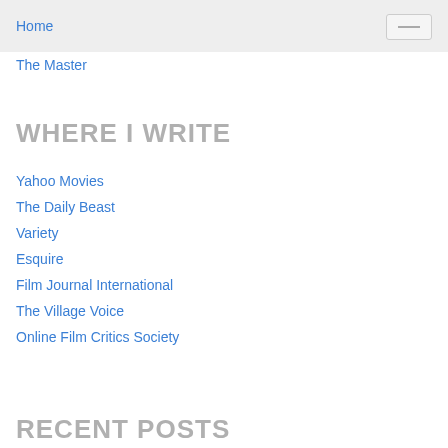Home
The Master
WHERE I WRITE
Yahoo Movies
The Daily Beast
Variety
Esquire
Film Journal International
The Village Voice
Online Film Critics Society
RECENT POSTS